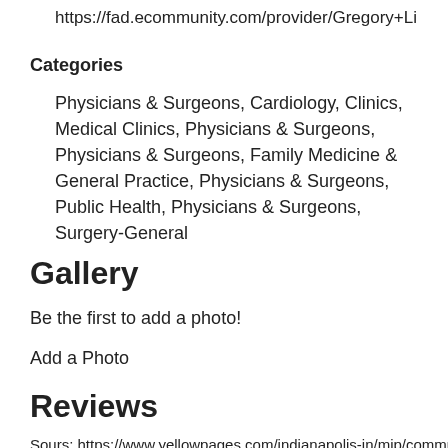https://fad.ecommunity.com/provider/Gregory+Li
Categories
Physicians & Surgeons, Cardiology, Clinics, Medical Clinics, Physicians & Surgeons, Physicians & Surgeons, Family Medicine & General Practice, Physicians & Surgeons, Public Health, Physicians & Surgeons, Surgery-General
Gallery
Be the first to add a photo!
Add a Photo
Reviews
Sours: https://www.yellowpages.com/indianapolis-in/mip/community-health-network-452585806
Avenue 1400 north ritter